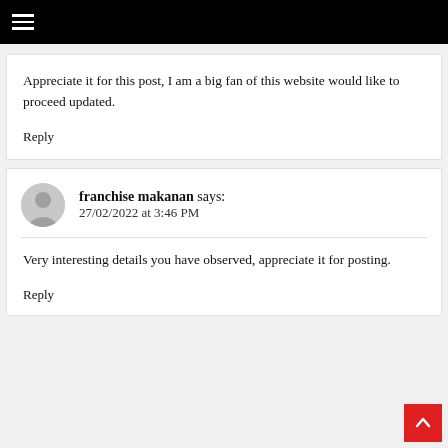≡
Appreciate it for this post, I am a big fan of this website would like to proceed updated.
Reply
franchise makanan says: 27/02/2022 at 3:46 PM
Very interesting details you have observed, appreciate it for posting.
Reply